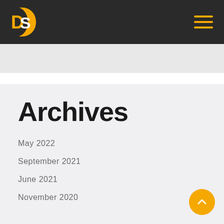DS logo and navigation header
Archives
May 2022
September 2021
June 2021
November 2020